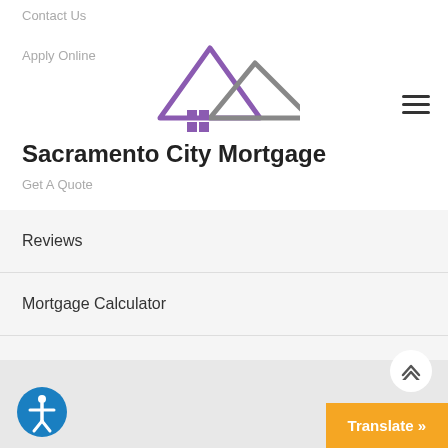Contact Us
Apply Online
[Figure (logo): Sacramento City Mortgage logo with mountain peaks in purple and gray, and a purple grid icon]
Sacramento City Mortgage
Get A Quote
Reviews
Mortgage Calculator
NMLS Consumer Access
ADA Accessibility Statement
Privacy Policy
[Figure (illustration): Accessibility icon - blue circle with white person figure]
Translate »